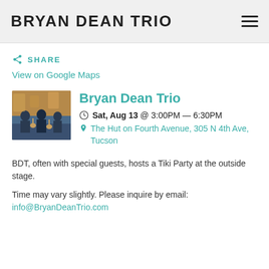BRYAN DEAN TRIO
SHARE
View on Google Maps
Bryan Dean Trio
Sat, Aug 13 @ 3:00PM — 6:30PM
The Hut on Fourth Avenue, 305 N 4th Ave, Tucson
BDT, often with special guests, hosts a Tiki Party at the outside stage.
Time may vary slightly. Please inquire by email: info@BryanDeanTrio.com